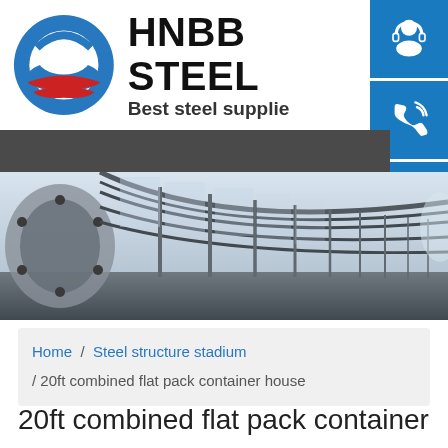[Figure (logo): HNBB Steel company logo with circular icon (blue ring with red swoosh) and text 'HNBB STEEL / Best steel supplie']
[Figure (photo): Interior photograph of a large steel structure building/stadium showing arched steel framework and glass roof, perspective view down a long corridor]
[Figure (other): Three blue square icon buttons on right side: headset/customer service icon, phone/call icon, Skype icon]
Home / Steel structure stadium / 20ft combined flat pack container house
20ft combined flat pack container